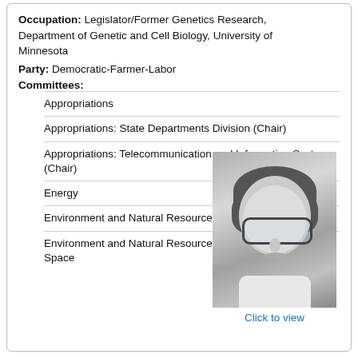Occupation: Legislator/Former Genetics Research, Department of Genetic and Cell Biology, University of Minnesota
Party: Democratic-Farmer-Labor
Committees:
Appropriations
Appropriations: State Departments Division (Chair)
Appropriations: Telecommunication and Information Systems (Chair)
Energy
Environment and Natural Resources
Environment and Natural Resources: Recreation and Open Space
[Figure (photo): Black and white portrait photo of a woman with short dark hair and large glasses, smiling.]
Click to view